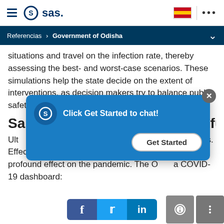SAS logo navigation bar with hamburger menu, SAS logo, Spanish flag, and more options (...)
Referencias > Government of Odisha
situations and travel on the infection rate, thereby assessing the best- and worst-case scenarios. These simulations help the state decide on the extent of interventions, as decision makers try to balance public safety and economic activity.
[Figure (screenshot): Chat popup overlay with SAS logo, text 'Click Get Started to chat!', a close (X) button, and a 'Get Started' button]
Sa... he future
Ult... n help save lives. Effective planning and preparedness can have a profound effect on the pandemic. The Odisha COVID-19 dashboard:
[Figure (screenshot): Bottom right chat and options icon buttons (gray squares)]
[Figure (screenshot): Social sharing bar with Facebook, Twitter, LinkedIn icons]